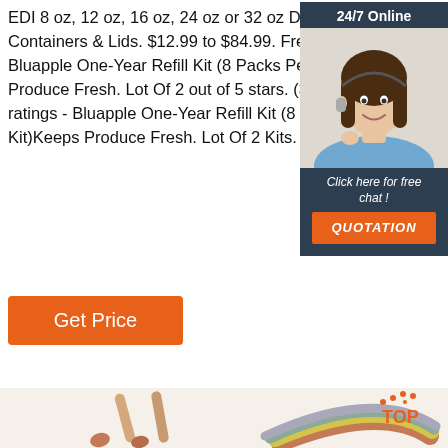EDI 8 oz, 12 oz, 16 oz, 24 oz or 32 oz Deli Food Containers & Lids. $12.99 to $84.99. Free shipping. Bluapple One-Year Refill Kit (8 Packs Per Kit)Keeps Produce Fresh. Lot Of 2 out of 5 stars. (3) 3 product ratings - Bluapple One-Year Refill Kit (8 Packs Per Kit)Keeps Produce Fresh. Lot Of 2 Kits.
[Figure (other): 24/7 Online chat widget with a smiling female customer service representative wearing a headset, with 'Click here for free chat!' text and a QUOTATION button]
[Figure (other): Get Price orange button]
[Figure (photo): Product image showing wooden spoons and colorful stacked rings/plates on a light beige background, with a 'TOP' logo in orange dots in the upper right corner]